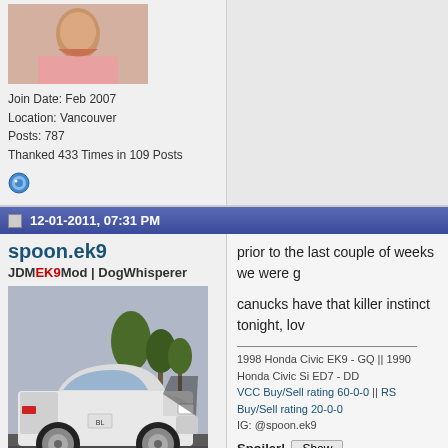Join Date: Feb 2007
Location: Vancouver
Posts: 787
Thanked 433 Times in 109 Posts
12-01-2011, 07:31 PM
spoon.ek9
JDMEK9Mod | DogWhisperer
[Figure (photo): White Honda Civic EK hatchback on a road]
prior to the last couple of weeks we were g
canucks have that killer instinct tonight, lov
1998 Honda Civic EK9 - GQ || 1990 Honda Civic Si ED7 - DD
VCC Buy/Sell rating 60-0-0 || RS Buy/Sell rating 20-0-0
IG: @spoon.ek9
Spoiler! Show
Join Date: May 2007
Location: Richmond
Posts: 13,840